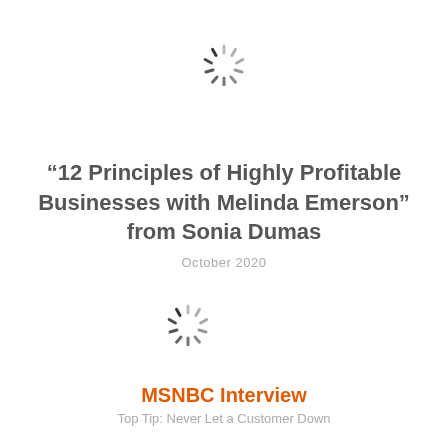[Figure (other): Loading spinner icon (circular dashed spinner)]
“12 Principles of Highly Profitable Businesses with Melinda Emerson” from Sonia Dumas
October 2020
[Figure (other): Loading spinner icon (circular dashed spinner)]
MSNBC Interview
Top Tip: Never Let a Customer Down